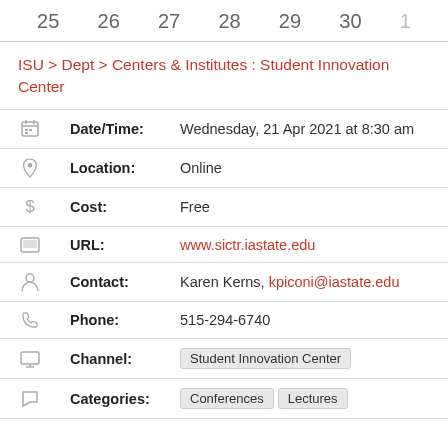25   26   27   28   29   30   1
ISU > Dept > Centers & Institutes : Student Innovation Center
| Icon | Field | Value |
| --- | --- | --- |
| 📅 | Date/Time: | Wednesday, 21 Apr 2021 at 8:30 am |
| 📍 | Location: | Online |
| $ | Cost: | Free |
| 🖥 | URL: | www.sictr.iastate.edu |
| 👤 | Contact: | Karen Kerns, kpiconi@iastate.edu |
| 📞 | Phone: | 515-294-6740 |
| 📺 | Channel: | Student Innovation Center |
| 🏷 | Categories: | Conferences   Lectures |